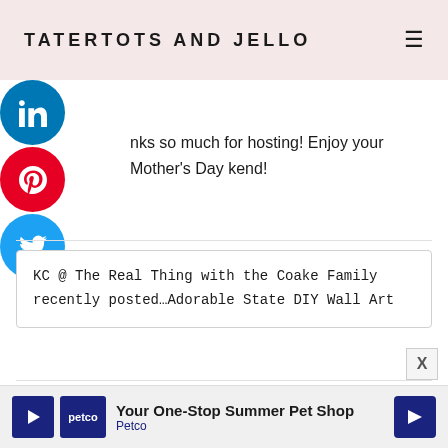TATERTOTS AND JELLO
nks so much for hosting! Enjoy your Mother's Day kend!
KC @ The Real Thing with the Coake Family recently posted...Adorable State DIY Wall Art
[Figure (photo): Profile photo of commenter Jen, a woman with blonde hair, smiling]
JEN says
May 9, 2014 at 5:30 PM
[Figure (infographic): Petco advertisement banner: Your One-Stop Summer Pet Shop - Petco]